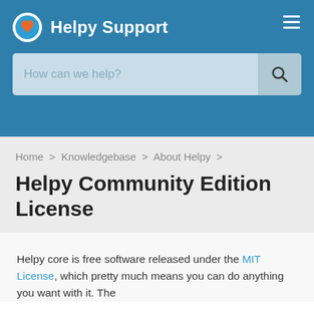Helpy Support
[Figure (screenshot): Search bar with placeholder text 'How can we help?' and a search icon button]
Home > Knowledgebase > About Helpy >
Helpy Community Edition License
Helpy core is free software released under the MIT License, which pretty much means you can do anything you want with it. The